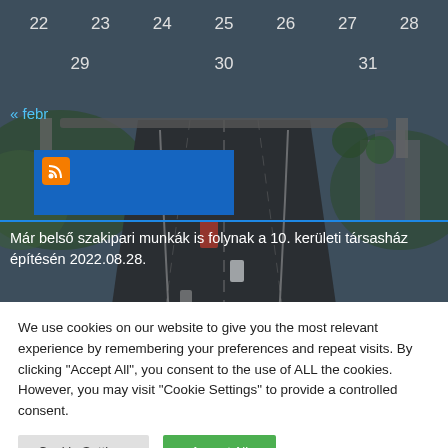[Figure (photo): Aerial/overhead view of a multi-lane highway interchange with vehicles, overlaid with calendar numbers and Hungarian text links]
22  23  24  25  26  27  28
29  30  31
« febr
Már belső szakipari munkák is folynak a 10. kerületi társasház építésén 2022.08.28.
Jelentős árvízvédelmi fejlesztések kezdődtek a Nagykunság
We use cookies on our website to give you the most relevant experience by remembering your preferences and repeat visits. By clicking "Accept All", you consent to the use of ALL the cookies. However, you may visit "Cookie Settings" to provide a controlled consent.
Cookie Settings
Accept All